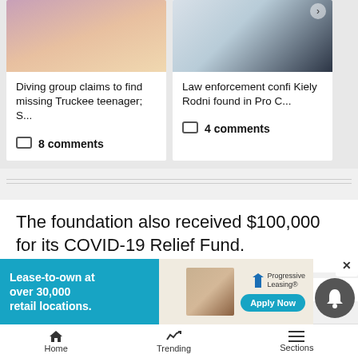[Figure (screenshot): Two news article cards side by side. Left card shows a smiling blonde woman with a floral outfit; headline: 'Diving group claims to find missing Truckee teenager; S...' with 8 comments. Right card shows a blonde woman in black top; headline: 'Law enforcement confi Kiely Rodni found in Pro C...' with 4 comments.]
Diving group claims to find missing Truckee teenager; S...
8 comments
Law enforcement confi Kiely Rodni found in Pro C...
4 comments
The foundation also received $100,000 for its COVID-19 Relief Fund.
The Ta $195,0
[Figure (screenshot): Progressive Leasing advertisement banner: 'Lease-to-own at over 30,000 retail locations.' with Apply Now button and couple looking at phone image.]
Home   Trending   Sections